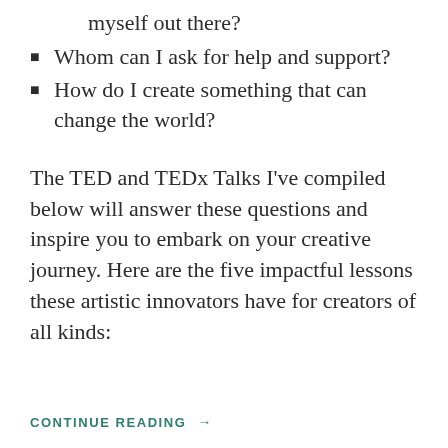myself out there?
Whom can I ask for help and support?
How do I create something that can change the world?
The TED and TEDx Talks I've compiled below will answer these questions and inspire you to embark on your creative journey. Here are the five impactful lessons these artistic innovators have for creators of all kinds:
CONTINUE READING →